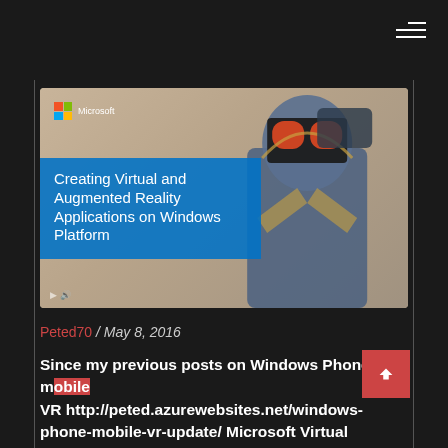[Figure (screenshot): Microsoft branded thumbnail image showing a robot/armored figure wearing VR goggles on the right side, with a blue overlay box on the left containing the text 'Creating Virtual and Augmented Reality Applications on Windows Platform'. Microsoft logo visible at top left of image.]
Peted70 / May 8, 2016
Since my previous posts on Windows Phone mobile VR http://peted.azurewebsites.net/windows-phone-mobile-vr-update/ Microsoft Virtual Academy has published a six-part course called